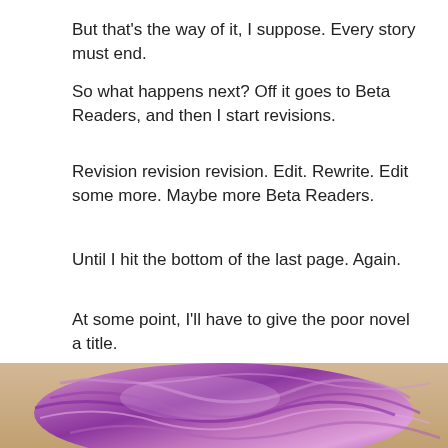But that's the way of it, I suppose. Every story must end.
So what happens next? Off it goes to Beta Readers, and then I start revisions.
Revision revision revision. Edit. Rewrite. Edit some more. Maybe more Beta Readers.
Until I hit the bottom of the last page. Again.
At some point, I'll have to give the poor novel a title.
And then?
We'll see.
Meanwhile, some yarn therapy:
[Figure (photo): Pink and purple yarn skein on a wooden surface]